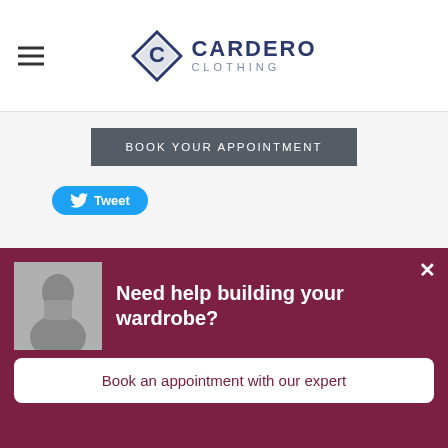[Figure (logo): Cardero Clothing logo with diamond shape containing a C, and text CARDERO CLOTHING]
BOOK YOUR APPOINTMENT
[Figure (other): Twitter Tweet button]
1 Comment
Wedding Suit Hire Adelaide
4/30/2021 03:21:42 am
[Figure (infographic): Popup overlay: Need help building your wardrobe? Book an appointment with our expert]
Need help building your wardrobe?
Book an appointment with our expert